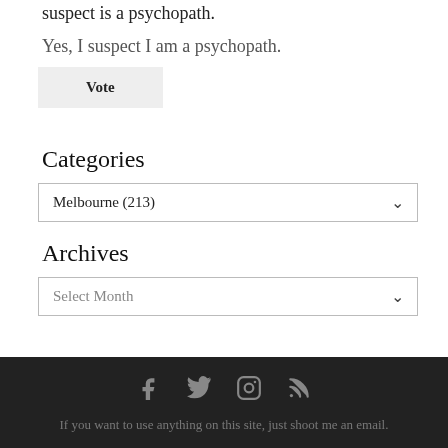suspect is a psychopath.
Yes, I suspect I am a psychopath.
Vote
Categories
Melbourne (213)
Archives
Select Month
If you want to use anything on this site, just shoot me an email.